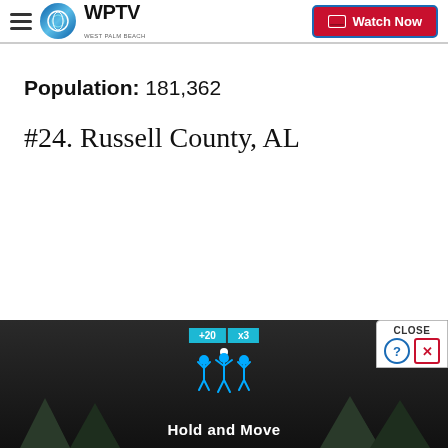WPTV | Watch Now
Population: 181,362
#24. Russell County, AL
[Figure (screenshot): Advertisement banner at bottom of page showing a mobile game called 'Hold and Move' with a dark background, game UI elements showing score multipliers (+20, x3), and trees in the background. A CLOSE button appears above the ad.]